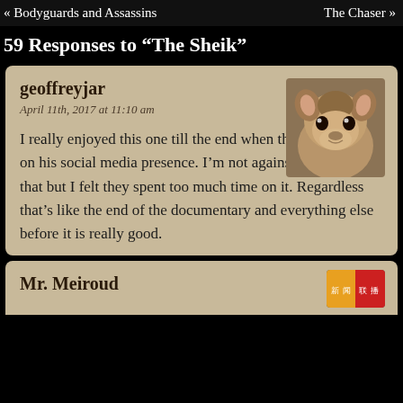« Bodyguards and Assassins    The Chaser »
59 Responses to "The Sheik"
geoffreyjar
April 11th, 2017 at 11:10 am
I really enjoyed this one till the end when they focused on his social media presence. I'm not against them doing that but I felt they spent too much time on it. Regardless that's like the end of the documentary and everything else before it is really good.